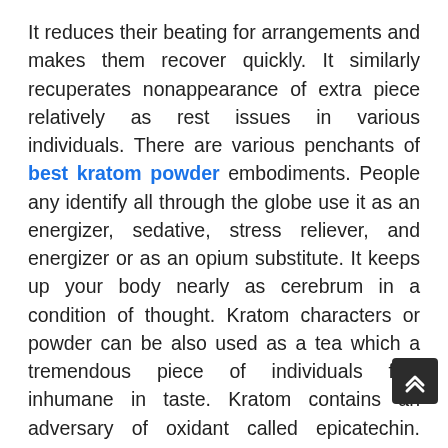It reduces their beating for arrangements and makes them recover quickly. It similarly recuperates nonappearance of extra piece relatively as rest issues in various individuals. There are various penchants of best kratom powder embodiments. People any identify all through the globe use it as an energizer, sedative, stress reliever, and energizer or as an opium substitute. It keeps up your body nearly as cerebrum in a condition of thought. Kratom characters or powder can be also used as a tea which a tremendous piece of individuals find inhumane in taste. Kratom contains an adversary of oxidant called epicatechin. Doubtlessly way contains alkaloids think too well effect human body safe game plan. Kratom Powder For Anxiety characters assist one with waiting alarm for longer degree of time.
Abundance utilization of kratom concentrates can